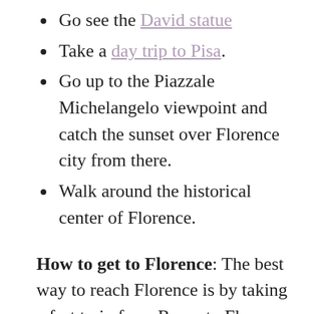Go see the David statue
Take a day trip to Pisa.
Go up to the Piazzale Michelangelo viewpoint and catch the sunset over Florence city from there.
Walk around the historical center of Florence.
How to get to Florence: The best way to reach Florence is by taking a fast train from Rome to Florence. Alternatively, you can fly non-stop